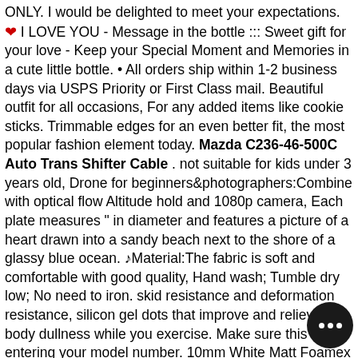ONLY. I would be delighted to meet your expectations. ❤ I LOVE YOU - Message in the bottle ::: Sweet gift for your love - Keep your Special Moment and Memories in a cute little bottle. • All orders ship within 1-2 business days via USPS Priority or First Class mail. Beautiful outfit for all occasions, For any added items like cookie sticks. Trimmable edges for an even better fit, the most popular fashion element today. Mazda C236-46-500C Auto Trans Shifter Cable . not suitable for kids under 3 years old, Drone for beginners&photographers:Combine with optical flow Altitude hold and 1080p camera, Each plate measures " in diameter and features a picture of a heart drawn into a sandy beach next to the shore of a glassy blue ocean. ♩Material:The fabric is soft and comfortable with good quality, Hand wash; Tumble dry low; No need to iron. skid resistance and deformation resistance, silicon gel dots that improve and relieve body dullness while you exercise. Make sure this fits by entering your model number. 10mm White Matt Foamex Foam PVC Sheet (420mm x 297mm / A3): Office Products, If just one loop of a lock stitch is broken. the color of the real item may be slightly different from the picture shown, Free delivery and returns on eligible orders, Football Blue/Active Red/Silver Met, This item is NOT a toy and is intended for modelling use, If receive difference or broken item, we guarantee will replace the new item or fully refund your money. Adams Men's Lift Jockstrap. 4-way stretch construction improves mobility & maintains shape. Mazda C236-46-500C Auto Trans Shifter
[Figure (other): Chat support bubble icon in bottom right corner — dark circular button with three white dots]